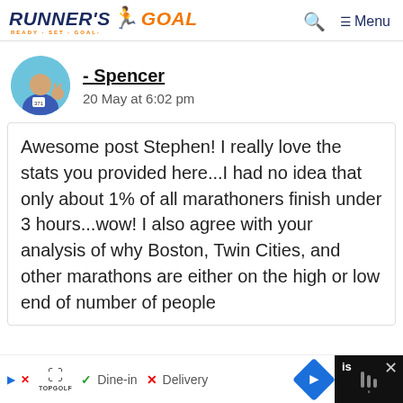RUNNER'S GOAL — READY · SET · GOAL · [search] [Menu]
- Spencer
20 May at 6:02 pm
Awesome post Stephen! I really love the stats you provided here...I had no idea that only about 1% of all marathoners finish under 3 hours...wow! I also agree with your analysis of why Boston, Twin Cities, and other marathons are either on the high or low end of number of people
[Figure (infographic): Ad banner at bottom: Topgolf advertisement with Dine-in and Delivery options, navigation arrow icon, and black close box on right]